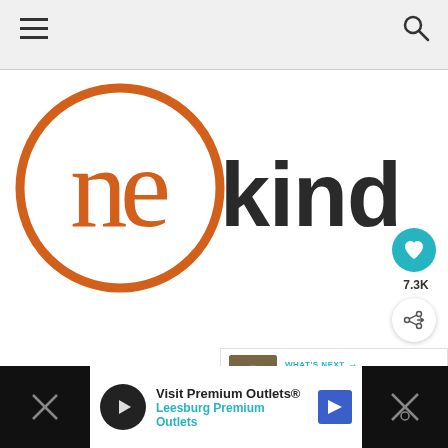Navigation bar with hamburger menu and search icon
[Figure (logo): onekindesign logo: orange circle with 'ne' letters inside in orange serif font, followed by 'kindesign' in dark sans-serif text]
[Figure (other): Heart/like button (teal circle) with count 7.3K and share button below]
7.3K
[Figure (other): WHAT'S NEXT panel with thumbnail and text 'Whimsical lakeside...']
WHAT'S NEXT → Whimsical lakeside...
[Figure (other): Advertisement banner: Visit Premium Outlets® Leesburg Premium Outlets]